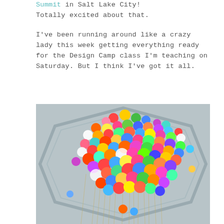Summit in Salt Lake City! Totally excited about that.
I've been running around like a crazy lady this week getting everything ready for the Design Camp class I'm teaching on Saturday. But I think I've got it all.
[Figure (photo): Looking up at a colorful installation of hundreds of yarn pom-poms or fabric balls in rainbow colors suspended from strings attached to an ornate ceiling with octagonal architectural details.]